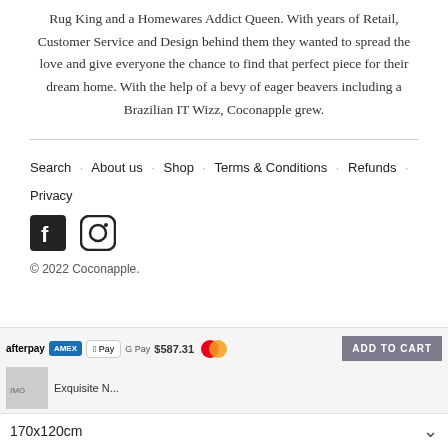Rug King and a Homewares Addict Queen. With years of Retail, Customer Service and Design behind them they wanted to spread the love and give everyone the chance to find that perfect piece for their dream home. With the help of a bevy of eager beavers including a Brazilian IT Wizz, Coconapple grew.
Search · About us · Shop · Terms & Conditions · Refunds · Privacy
© 2022 Coconapple.
[Figure (other): Payment method logos: afterpay, American Express, Apple Pay, Google Pay, Mastercard, and other payment icons. Product thumbnail with price $587.31. ADD TO CART button. Size selector showing 170x120cm.]